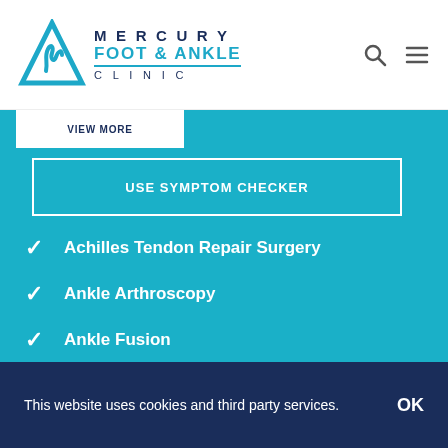MERCURY FOOT & ANKLE CLINIC
VIEW MORE
USE SYMPTOM CHECKER
Achilles Tendon Repair Surgery
Ankle Arthroscopy
Ankle Fusion
Big Toe Cheilectomy
Big Toe Fusion
This website uses cookies and third party services.
OK